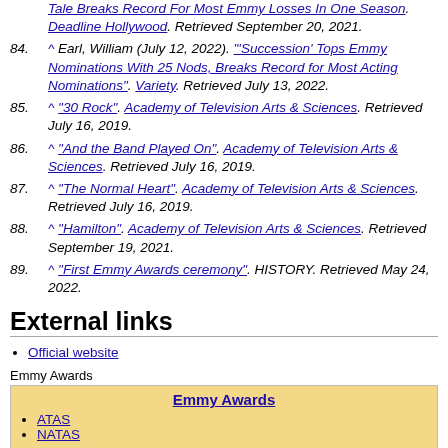Tale Breaks Record For Most Emmy Losses In One Season". Deadline Hollywood. Retrieved September 20, 2021.
84. ^ Earl, William (July 12, 2022). "'Succession' Tops Emmy Nominations With 25 Nods, Breaks Record for Most Acting Nominations". Variety. Retrieved July 13, 2022.
85. ^ "30 Rock". Academy of Television Arts & Sciences. Retrieved July 16, 2019.
86. ^ "And the Band Played On". Academy of Television Arts & Sciences. Retrieved July 16, 2019.
87. ^ "The Normal Heart". Academy of Television Arts & Sciences. Retrieved July 16, 2019.
88. ^ "Hamilton". Academy of Television Arts & Sciences. Retrieved September 19, 2021.
89. ^ "First Emmy Awards ceremony". HISTORY. Retrieved May 24, 2022.
External links
Official website
Emmy Awards
Emmy Awards
• ATAS
• NATAS